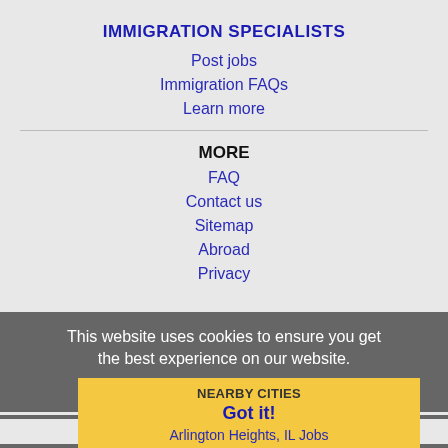IMMIGRATION SPECIALISTS
Post jobs
Immigration FAQs
Learn more
MORE
FAQ
Contact us
Sitemap
Abroad
Privacy
This website uses cookies to ensure you get the best experience on our website.
Learn more
NEARBY CITIES
Got it!
Arlington Heights, IL Jobs
Aurora, IL Jobs
Bartlett, IL Jobs